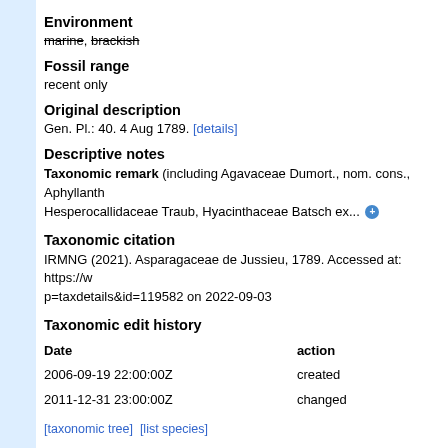Environment
marine, brackish
Fossil range
recent only
Original description
Gen. Pl.: 40. 4 Aug 1789. [details]
Descriptive notes
Taxonomic remark (including Agavaceae Dumort., nom. cons., Aphyllanthaceae, Hesperocallidaceae Traub, Hyacinthaceae Batsch ex... ➕
Taxonomic citation
IRMNG (2021). Asparagaceae de Jussieu, 1789. Accessed at: https://w... p=taxdetails&id=119582 on 2022-09-03
Taxonomic edit history
| Date | action |
| --- | --- |
| 2006-09-19 22:00:00Z | created |
| 2011-12-31 23:00:00Z | changed |
[taxonomic tree]  [list species]